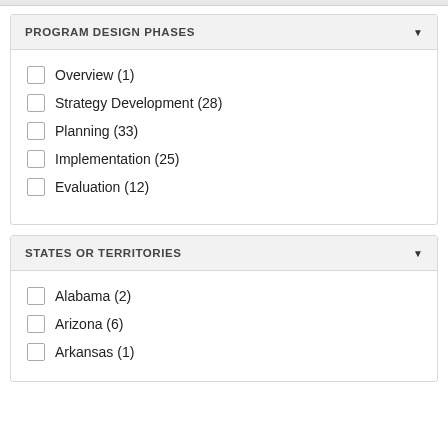PROGRAM DESIGN PHASES
Overview (1)
Strategy Development (28)
Planning (33)
Implementation (25)
Evaluation (12)
STATES OR TERRITORIES
Alabama (2)
Arizona (6)
Arkansas (1)